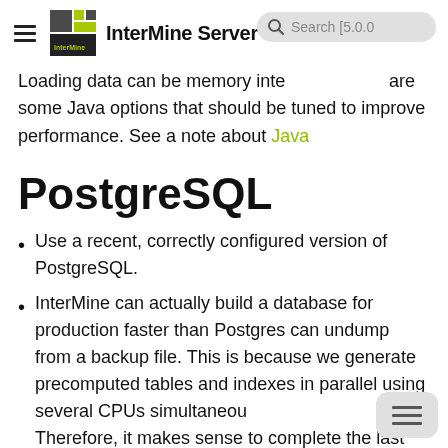InterMine Server Documentation
Loading data can be memory intensive. There are some Java options that should be tuned to improve performance. See a note about Java
PostgreSQL
Use a recent, correctly configured version of PostgreSQL.
InterMine can actually build a database for production faster than Postgres can undump from a backup file. This is because we generate precomputed tables and indexes in parallel using several CPUs simultaneously. Therefore, it makes sense to complete the last